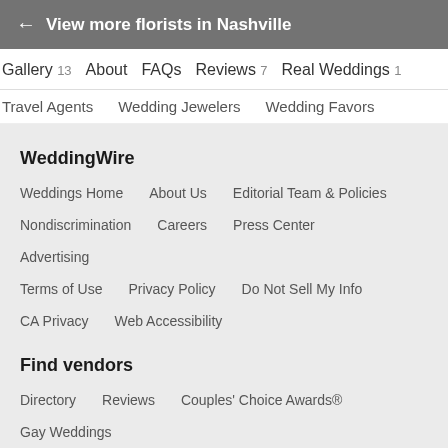← View more florists in Nashville
Gallery 13   About   FAQs   Reviews 7   Real Weddings 1
Travel Agents   Wedding Jewelers   Wedding Favors
WeddingWire
Weddings Home
About Us
Editorial Team & Policies
Nondiscrimination
Careers
Press Center
Advertising
Terms of Use
Privacy Policy
Do Not Sell My Info
CA Privacy
Web Accessibility
Find vendors
Directory
Reviews
Couples' Choice Awards®
Gay Weddings